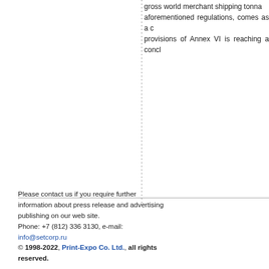gross world merchant shipping tonna aforementioned regulations, comes as a c provisions of Annex VI is reaching a concl
Please contact us if you require further information about press release and advertising publishing on our web site. Phone: +7 (812) 336 3130, e-mail: info@setcorp.ru © 1998-2022, Print-Expo Co. Ltd., all rights reserved.